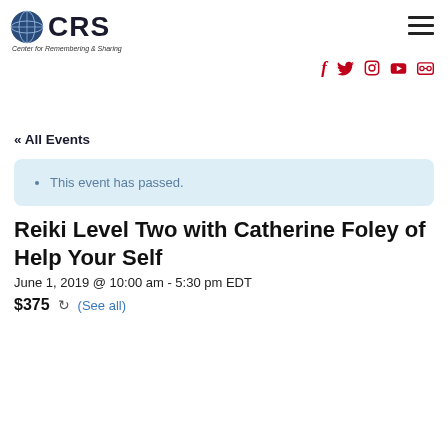[Figure (logo): CRS - Center for Remembering & Sharing logo with globe icon]
« All Events
This event has passed.
Reiki Level Two with Catherine Foley of Help Your Self
June 1, 2019 @ 10:00 am - 5:30 pm EDT
$375  (See all)